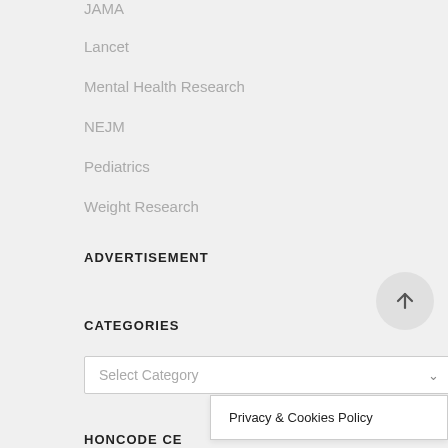JAMA
Lancet
Mental Health Research
NEJM
Pediatrics
Weight Research
ADVERTISEMENT
CATEGORIES
Select Category
Privacy & Cookies Policy
HONCODE CE